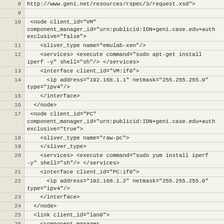Code listing showing XML RSpec definition with nodes, interfaces, links and services (lines 8-31)